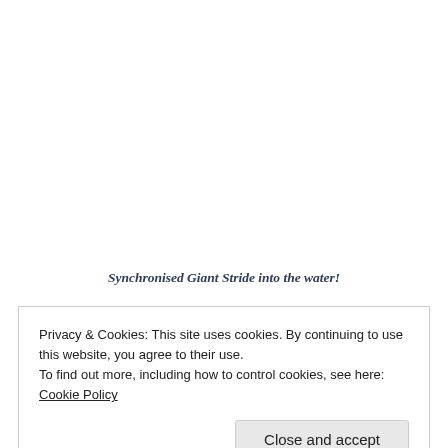Synchronised Giant Stride into the water!
Privacy & Cookies: This site uses cookies. By continuing to use this website, you agree to their use.
To find out more, including how to control cookies, see here: Cookie Policy
Close and accept